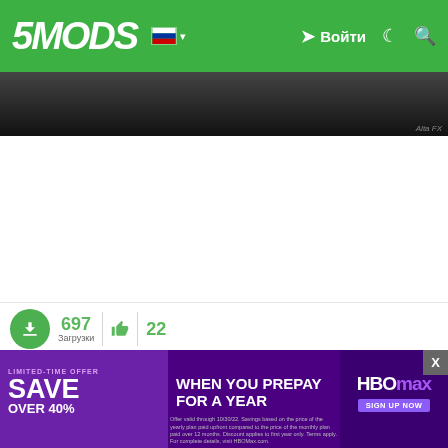5MODS — Войти
[Figure (screenshot): Dark screenshot strip of a game mod preview]
697 Загрузки   22
[Figure (infographic): Advertisement banner: SAVE OVER 40% WHEN YOU PREPAY FOR A YEAR — HBO Max sign up now. Limited-time offer. Offer valid through 10/30/22. Savings based on price of yearly plan paid upfront compared to monthly plan paid over 12 months. Discount applies to first year only. Terms apply. For complete details, visit HBOMax.com.]